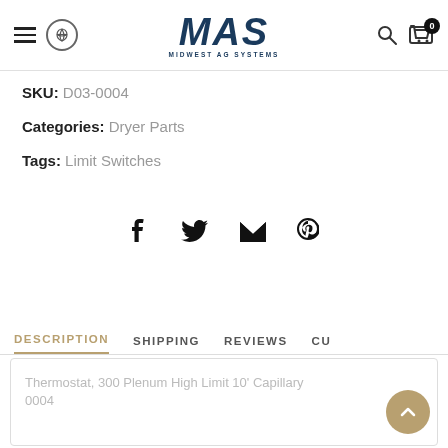[Figure (logo): MAS Midwest Ag Systems logo in dark navy blue]
SKU: D03-0004
Categories: Dryer Parts
Tags: Limit Switches
[Figure (infographic): Social share icons: Facebook, Twitter, Email, Pinterest]
DESCRIPTION  SHIPPING  REVIEWS  CU
Thermostat, 300 Plenum High Limit 10' Capillary 0004